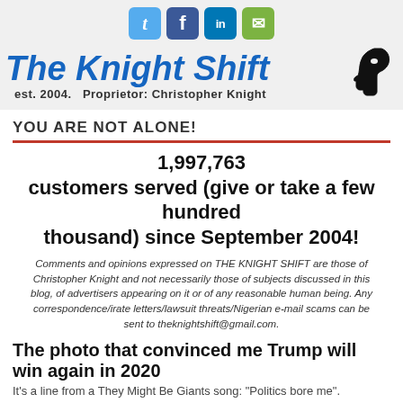[Figure (screenshot): Social media share icons: Twitter (blue bird), Facebook (blue f), LinkedIn (blue in), Email (green envelope)]
The Knight Shift est. 2004. Proprietor: Christopher Knight
YOU ARE NOT ALONE!
1,997,763 customers served (give or take a few hundred thousand) since September 2004!
Comments and opinions expressed on THE KNIGHT SHIFT are those of Christopher Knight and not necessarily those of subjects discussed in this blog, of advertisers appearing on it or of any reasonable human being. Any correspondence/irate letters/lawsuit threats/Nigerian e-mail scams can be sent to theknightshift@gmail.com.
The photo that convinced me Trump will win again in 2020
It's a line from a They Might Be Giants song: "Politics bore me". And that's where I've found myself lately in life: dulled out of my